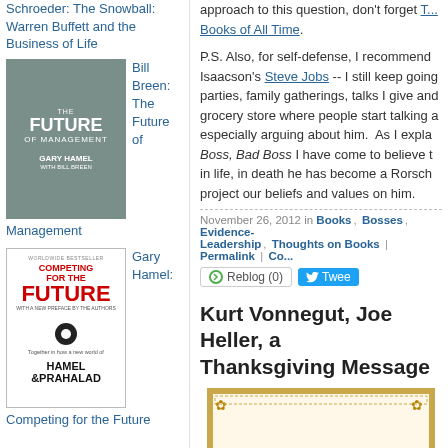Schroeder: The Snowball: Warren Buffett and the Business of Life
[Figure (photo): Book cover of 'The Future of Management' by Gary Hamel with Bill Breen, grey/teal cover]
Bill Breen: The Future of Management
Management
[Figure (photo): Book cover of 'Competing for the Future' by Hamel and Prahalad, white cover with red title text]
Gary Hamel: Competing for the Future
approach to this question, don't forget T... Books of All Time.
P.S. Also, for self-defense, I recommend... Isaacson's Steve Jobs -- I still keep going... parties, family gatherings, talks I give and... grocery store where people start talking a... especially arguing about him. As I expla... Boss, Bad Boss I have come to believe t... in life, in death he has become a Rorsch... project our beliefs and values on him.
November 26, 2012 in Books, Bosses, Evidence-, Leadership, Thoughts on Books | Permalink | Co-
Reblog (0)   Tweet
Kurt Vonnegut, Joe Heller, a... Thanksgiving Message
[Figure (photo): Ornamental framed image with 'Life is no...' text in italic script, gold/yellow decorative border with corner ornaments]